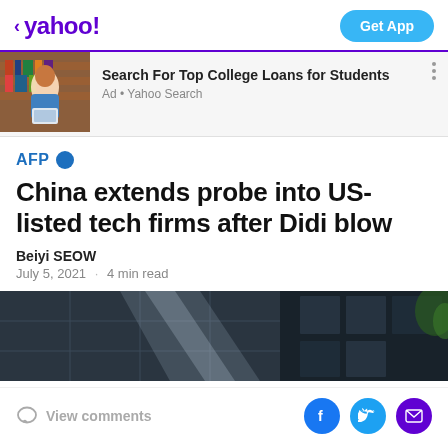< yahoo!   Get App
[Figure (photo): Ad banner: woman on phone at laptop in library. Text: Search For Top College Loans for Students. Ad • Yahoo Search]
AFP
China extends probe into US-listed tech firms after Didi blow
Beiyi SEOW
July 5, 2021 · 4 min read
[Figure (photo): Dark architectural photo of building exterior, concrete and glass panels]
View comments   [Facebook] [Twitter] [Mail]